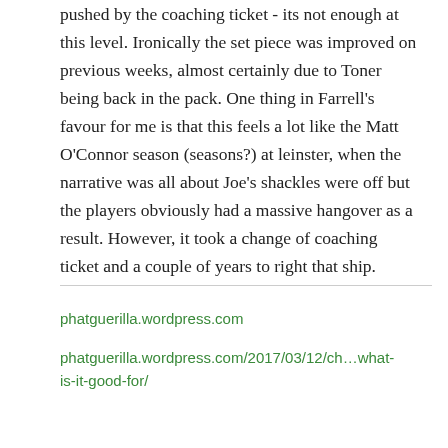pushed by the coaching ticket - its not enough at this level. Ironically the set piece was improved on previous weeks, almost certainly due to Toner being back in the pack. One thing in Farrell's favour for me is that this feels a lot like the Matt O'Connor season (seasons?) at leinster, when the narrative was all about Joe's shackles were off but the players obviously had a massive hangover as a result. However, it took a change of coaching ticket and a couple of years to right that ship.
phatguerilla.wordpress.com
phatguerilla.wordpress.com/2017/03/12/ch…what-is-it-good-for/